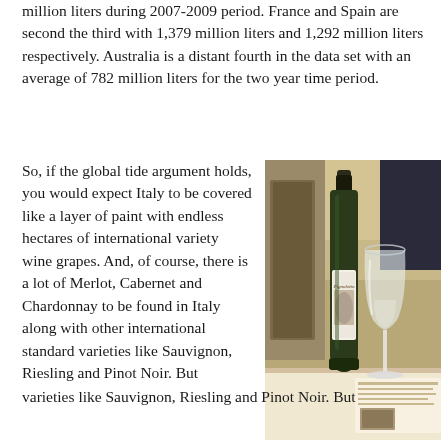million liters during 2007-2009 period. France and Spain are second the third with 1,379 million liters and 1,292 million liters respectively. Australia is a distant fourth in the data set with an average of 782 million liters for the two year time period.
So, if the global tide argument holds, you would expect Italy to be covered like a layer of paint with endless hectares of international variety wine grapes. And, of course, there is a lot of Merlot, Cabernet and Chardonnay to be found in Italy along with other international standard varieties like Sauvignon, Riesling and Pinot Noir. But
[Figure (photo): A photo of a wine bottle labeled Pignoletto and a wine glass on a restaurant table, with an outdoor Italian street scene in the background.]